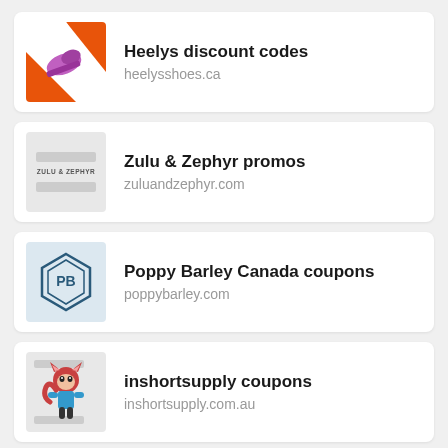[Figure (photo): Heelys shoes product photo with orange and white background]
Heelys discount codes
heelysshoes.ca
[Figure (logo): Zulu & Zephyr brand logo placeholder with gray bars and text]
Zulu & Zephyr promos
zuluandzephyr.com
[Figure (logo): Poppy Barley PB hexagon shield logo on light blue background]
Poppy Barley Canada coupons
poppybarley.com
[Figure (illustration): Anime-style fox character mascot for inshortsupply]
inshortsupply coupons
inshortsupply.com.au